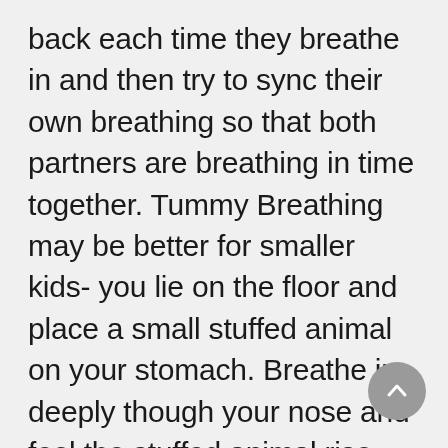back each time they breathe in and then try to sync their own breathing so that both partners are breathing in time together. Tummy Breathing may be better for smaller kids- you lie on the floor and place a small stuffed animal on your stomach. Breathe in deeply though your nose and feel the stuffed animal rise, and then feel it lower as you slowly exhale through your mouth. Rock the stuffed animal to sleep using the rise and fall of your stomach. For more cool breathing